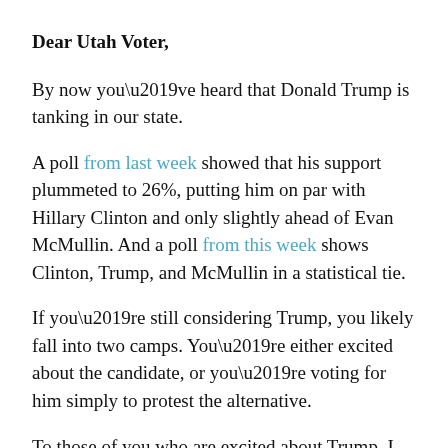Dear Utah Voter,
By now you’ve heard that Donald Trump is tanking in our state.
A poll from last week showed that his support plummeted to 26%, putting him on par with Hillary Clinton and only slightly ahead of Evan McMullin. And a poll from this week shows Clinton, Trump, and McMullin in a statistical tie.
If you’re still considering Trump, you likely fall into two camps. You’re either excited about the candidate, or you’re voting for him simply to protest the alternative.
To those of you who are excited about Trump, I genuinely wish you the best. I hope we will work together after the election to fight crony capitalism and injustice in Washington. Your views on those issues deserve to be heard and taken seriously.